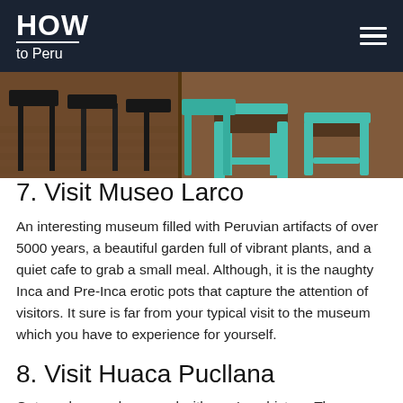HOW to Peru
[Figure (photo): Interior photograph of a restaurant/cafe showing wooden bar stools with teal/mint colored metal frames and dark wood seats on a wooden floor, with black bar stools visible on the left]
7. Visit Museo Larco
An interesting museum filled with Peruvian artifacts of over 5000 years, a beautiful garden full of vibrant plants, and a quiet cafe to grab a small meal. Although, it is the naughty Inca and Pre-Inca erotic pots that capture the attention of visitors. It sure is far from your typical visit to the museum which you have to experience for yourself.
8. Visit Huaca Pucllana
Get up close and personal with pre-Inca history. These incredible ruins are located right in the heart of Miraflores and are a window into history. There is also a world-class